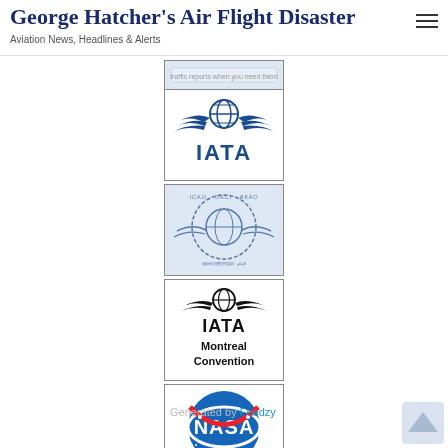George Hatcher's Air Flight Disaster — Aviation News, Headlines & Alerts
[Figure (logo): Partially visible logo at top, cropped]
[Figure (logo): IATA logo in blue with globe and wings]
[Figure (logo): ICAO OACI ИКАО logo with globe and wings on light blue background]
[Figure (logo): IATA Montreal Convention logo in black and white]
[Figure (logo): NASA meatball logo]
[Figure (logo): Partially visible logo at bottom, cropped]
Generated by Feedzy
[Figure (other): Back to top arrow button]